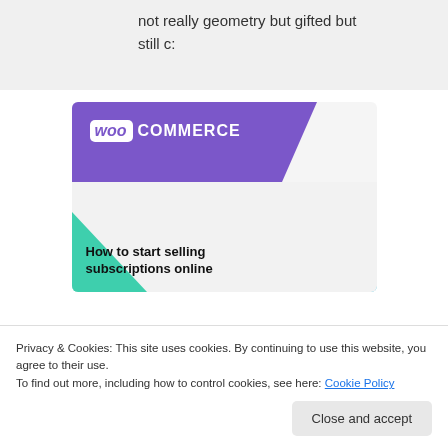not really geometry but gifted but still c:
[Figure (illustration): WooCommerce promotional image with purple logo banner, teal/green triangle accent, light blue arc shape, and bold text reading 'How to start selling subscriptions online']
Privacy & Cookies: This site uses cookies. By continuing to use this website, you agree to their use.
To find out more, including how to control cookies, see here: Cookie Policy